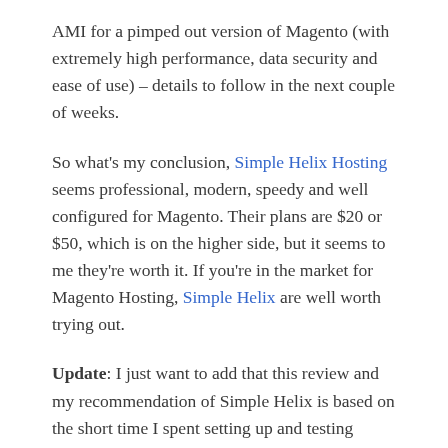AMI for a pimped out version of Magento (with extremely high performance, data security and ease of use) – details to follow in the next couple of weeks.
So what's my conclusion, Simple Helix Hosting seems professional, modern, speedy and well configured for Magento. Their plans are $20 or $50, which is on the higher side, but it seems to me they're worth it. If you're in the market for Magento Hosting, Simple Helix are well worth trying out.
Update: I just want to add that this review and my recommendation of Simple Helix is based on the short time I spent setting up and testing Magento on their platform. I have since read a fair bit of negative feedback about the stability of their hosting and I can't really comment on this because I didn't experience it. So please keep this in mind when you are considering my review. Also